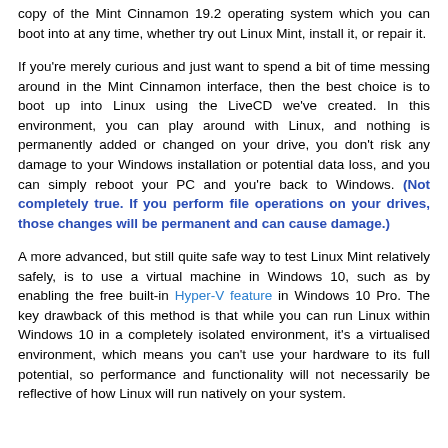copy of the Mint Cinnamon 19.2 operating system which you can boot into at any time, whether try out Linux Mint, install it, or repair it.
If you're merely curious and just want to spend a bit of time messing around in the Mint Cinnamon interface, then the best choice is to boot up into Linux using the LiveCD we've created. In this environment, you can play around with Linux, and nothing is permanently added or changed on your drive, you don't risk any damage to your Windows installation or potential data loss, and you can simply reboot your PC and you're back to Windows. (Not completely true. If you perform file operations on your drives, those changes will be permanent and can cause damage.)
A more advanced, but still quite safe way to test Linux Mint relatively safely, is to use a virtual machine in Windows 10, such as by enabling the free built-in Hyper-V feature in Windows 10 Pro. The key drawback of this method is that while you can run Linux within Windows 10 in a completely isolated environment, it's a virtualised environment, which means you can't use your hardware to its full potential, so performance and functionality will not necessarily be reflective of how Linux will run natively on your system.